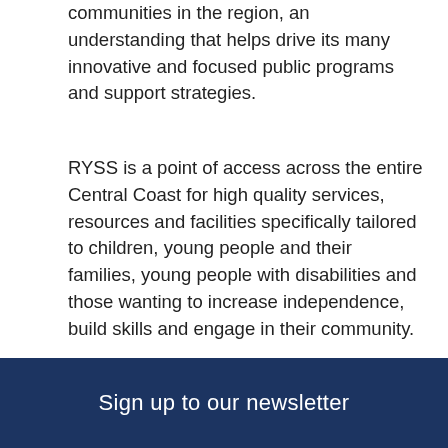communities in the region, an understanding that helps drive its many innovative and focused public programs and support strategies.
RYSS is a point of access across the entire Central Coast for high quality services, resources and facilities specifically tailored to children, young people and their families, young people with disabilities and those wanting to increase independence, build skills and engage in their community.
For further information visit: ryss.com.au
This article was posted on November 30, 2021
Sign up to our newsletter